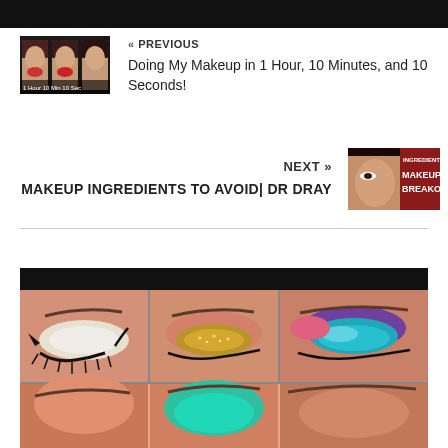[Figure (photo): Black banner at top of page]
[Figure (photo): Thumbnail showing three women with different makeup looks - 1 hour, 10 min, 10 seconds challenge]
« PREVIOUS
Doing My Makeup in 1 Hour, 10 Minutes, and 10 Seconds!
NEXT »
MAKEUP INGREDIENTS TO AVOID| DR DRAY
[Figure (photo): Thumbnail for Makeup Ingredients in Makeup & Breakouts video]
[Figure (photo): Three close-up eye makeup looks showing different eyeshadow styles: white shimmer with winged liner, gold glitter, and blue/teal with purple]